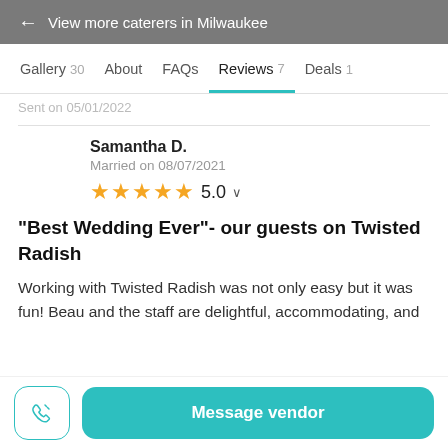← View more caterers in Milwaukee
Gallery 30   About   FAQs   Reviews 7   Deals 1
Samantha D.
Married on 08/07/2021
★★★★★ 5.0
"Best Wedding Ever"- our guests on Twisted Radish
Working with Twisted Radish was not only easy but it was fun! Beau and the staff are delightful, accommodating, and
Message vendor